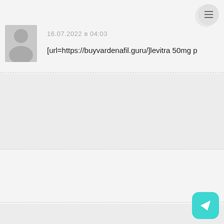16.07.2022 в 04:03
[url=https://buyvardenafil.guru/]levitra 50mg p
Michaelopini
16.07.2022 в 05:52
[url=http://seroquel.works/]seroquel for sleep
Darrylplown
16.07.2022 в 06:54
[url=http://atarax.works/]atarax 25 mg tablets
TimothyLof
16.07.2022 в 07:35